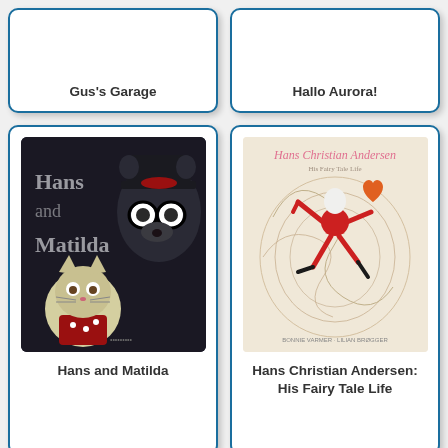[Figure (illustration): Book card for Gus's Garage with white background and blue border]
Gus's Garage
[Figure (illustration): Book card for Hallo Aurora! with white background and blue border]
Hallo Aurora!
[Figure (illustration): Book cover for Hans and Matilda showing a cat and raccoon character on dark background]
Hans and Matilda
[Figure (illustration): Book cover for Hans Christian Andersen: His Fairy Tale Life showing a stylized red dancing figure on tan background]
Hans Christian Andersen: His Fairy Tale Life
[Figure (illustration): Book cover for Happiness is a... with green illustrated background]
[Figure (illustration): Book cover for The Happiness... with blue background and white text]